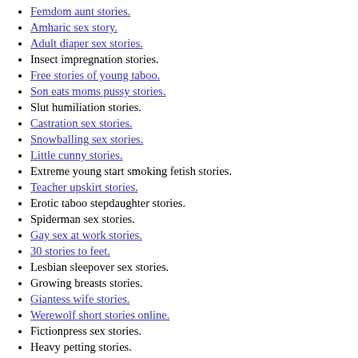Femdom aunt stories.
Amharic sex story.
Adult diaper sex stories.
Insect impregnation stories.
Free stories of young taboo.
Son eats moms pussy stories.
Slut humiliation stories.
Castration sex stories.
Snowballing sex stories.
Little cunny stories.
Extreme young start smoking fetish stories.
Teacher upskirt stories.
Erotic taboo stepdaughter stories.
Spiderman sex stories.
Gay sex at work stories.
30 stories to feet.
Lesbian sleepover sex stories.
Growing breasts stories.
Giantess wife stories.
Werewolf short stories online.
Fictionpress sex stories.
Heavy petting stories.
‘x-men’ stories